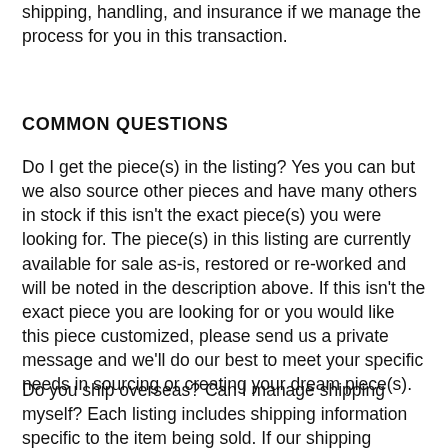shipping, handling, and insurance if we manage the process for you in this transaction.
COMMON QUESTIONS
Do I get the piece(s) in the listing? Yes you can but we also source other pieces and have many others in stock if this isn't the exact piece(s) you were looking for. The piece(s) in this listing are currently available for sale as-is, restored or re-worked and will be noted in the description above. If this isn't the exact piece you are looking for or you would like this piece customized, please send us a private message and we'll do our best to meet your specific needs in sourcing or creating your dream piece(s).
Do you ship overseas? Can I manage shipping myself? Each listing includes shipping information specific to the item being sold. If our shipping service does not include your location or if